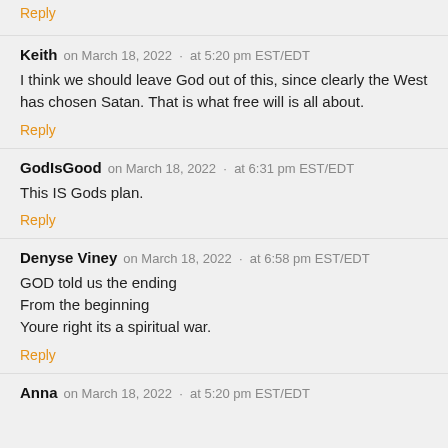Reply
Keith   on March 18, 2022  ·  at 5:20 pm EST/EDT
I think we should leave God out of this, since clearly the West has chosen Satan. That is what free will is all about.
Reply
GodIsGood   on March 18, 2022  ·  at 6:31 pm EST/EDT
This IS Gods plan.
Reply
Denyse Viney   on March 18, 2022  ·  at 6:58 pm EST/EDT
GOD told us the ending
From the beginning
Youre right its a spiritual war.
Reply
Anna   on March 18, 2022  ·  at 5:20 pm EST/EDT